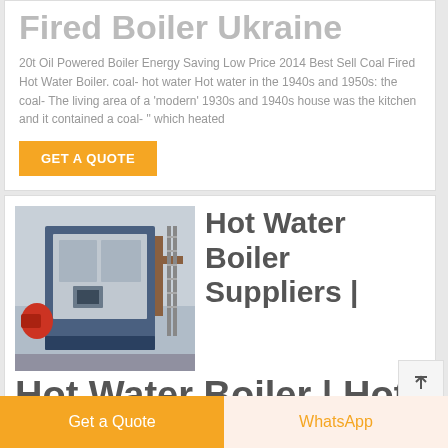Fired Boiler Ukraine
20t Oil Powered Boiler Energy Saving Low Price 2014 Best Sell Coal Fired Hot Water Boiler. coal- hot water Hot water in the 1940s and 1950s: the coal- The living area of a 'modern' 1930s and 1940s house was the kitchen and it contained a coal- " which heated
GET A QUOTE
[Figure (photo): Industrial hot water boiler unit, blue and silver metal casing, in a factory/warehouse setting]
Hot Water Boiler Suppliers | Hot Water Boiler | Hot
Get a Quote
WhatsApp